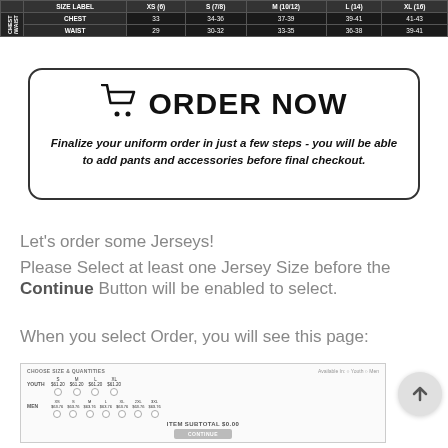|  | SIZE LABEL | XS (6) | S (7/8) | M (10/12) | L (14) | XL (16) |
| --- | --- | --- | --- | --- | --- | --- |
| CHEST/WAIST (grouped) | CHEST | 33 | 34-36 | 37-39 | 39-41 | 41-43 |
|  | WAIST | 29 | 30-32 | 33-35 | 36-38 | 39-41 |
[Figure (infographic): ORDER NOW box with shopping cart icon and bold text: 'ORDER NOW'. Subtitle in bold italic: 'Finalize your uniform order in just a few steps - you will be able to add pants and accessories before final checkout.']
Let's order some Jerseys!
Please Select at least one Jersey Size before the Continue Button will be enabled to select.
When you select Order, you will see this page:
[Figure (screenshot): Screenshot of an order form showing 'CHOOSE SIZE & QUANTITIES' section with YOUTH sizes (S $61.20, M $61.20, L $61.20, XL $61.20) and MEN sizes (XS $63.76, S $63.76, M $63.76, L $63.76, XL $63.76, 2XL $63.76, 3XL $63.76), each with radio buttons. Bottom shows ITEM SUBTOTAL $0.00 and a greyed-out CONTINUE button.]